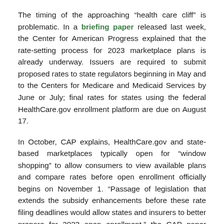The timing of the approaching “health care cliff” is problematic. In a briefing paper released last week, the Center for American Progress explained that the rate-setting process for 2023 marketplace plans is already underway. Issuers are required to submit proposed rates to state regulators beginning in May and to the Centers for Medicare and Medicaid Services by June or July; final rates for states using the federal HealthCare.gov enrollment platform are due on August 17.
In October, CAP explains, HealthCare.gov and state-based marketplaces typically open for “window shopping” to allow consumers to view available plans and compare rates before open enrollment officially begins on November 1. “Passage of legislation that extends the subsidy enhancements before these rate filing deadlines would allow states and insurers to better prepare for 2023 open enrollment,” the CAP paper states.